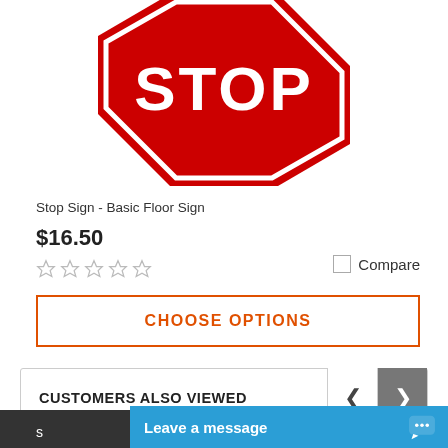[Figure (photo): Partial view of a red octagonal STOP sign, cropped at the bottom, showing white text 'STOP' on red background with white border]
Stop Sign - Basic Floor Sign
$16.50
[Figure (other): Five empty/unfilled star rating icons (grey)]
Compare
CHOOSE OPTIONS
CUSTOMERS ALSO VIEWED
[Figure (photo): Partial view of a blue circular sign at the bottom of the page]
Leave a message